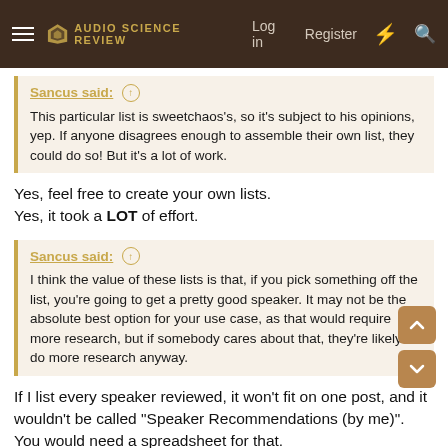Audio Science Review — Log in | Register
Sancus said: ↑
This particular list is sweetchaos's, so it's subject to his opinions, yep. If anyone disagrees enough to assemble their own list, they could do so! But it's a lot of work.
Yes, feel free to create your own lists.
Yes, it took a LOT of effort.
Sancus said: ↑
I think the value of these lists is that, if you pick something off the list, you're going to get a pretty good speaker. It may not be the absolute best option for your use case, as that would require more research, but if somebody cares about that, they're likely to do more research anyway.
If I list every speaker reviewed, it won't fit on one post, and it wouldn't be called "Speaker Recommendations (by me)". You would need a spreadsheet for that.
This is a short recommendation list for a reason...which is to help you narrow down the options quickly.